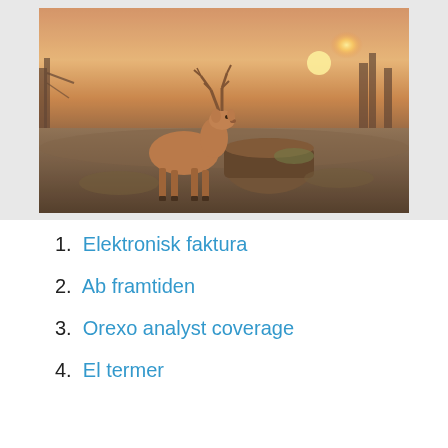[Figure (photo): A red deer stag standing in a winter woodland landscape at sunset, with bare trees and a fallen log in the background. Warm golden light filters through the trees.]
1. Elektronisk faktura
2. Ab framtiden
3. Orexo analyst coverage
4. El termer